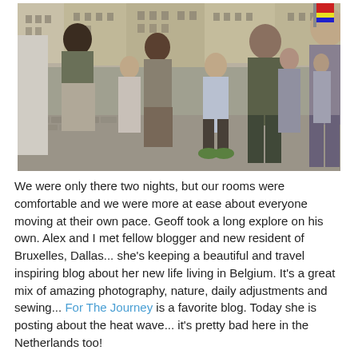[Figure (photo): A crowd of tourists walking on a cobblestone square (Grand Place, Brussels). Several people visible including a young boy in a light blue checked shirt, a teenager in an olive green shirt, a man in khaki shorts, and others in summer clothing. Historic guild building facades visible in the background.]
We were only there two nights, but our rooms were comfortable and we were more at ease about everyone moving at their own pace. Geoff took a long explore on his own. Alex and I met fellow blogger and new resident of Bruxelles, Dallas... she's keeping a beautiful and travel inspiring blog about her new life living in Belgium. It's a great mix of amazing photography, nature, daily adjustments and sewing... For The Journey is a favorite blog. Today she is posting about the heat wave... it's pretty bad here in the Netherlands too!